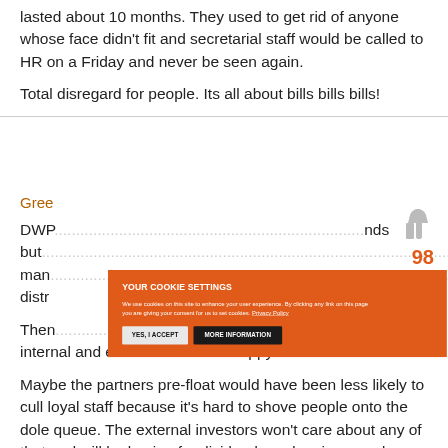lasted about 10 months. They used to get rid of anyone whose face didn't fit and secretarial staff would be called to HR on a Friday and never be seen again.
Total disregard for people.  Its all about bills bills bills!
Gree...
DWP... nds but... ch man... distr...
Then... internal and external investors happy.
[Figure (screenshot): Cookie consent overlay with orange background. Title: YOUR COOKIE SETTINGS. Body text: We use cookies on this site to enhance your user experience. By clicking any link on this page you are giving your consent for us to set cookies. Privacy Policy. Two buttons: YES, I ACCEPT (light) and MORE INFORMATION (dark).]
Maybe the partners pre-float would have been less likely to cull loyal staff because it's hard to shove people onto the dole queue.  The external investors won't care about any of that and will be baying for dividends and an improved